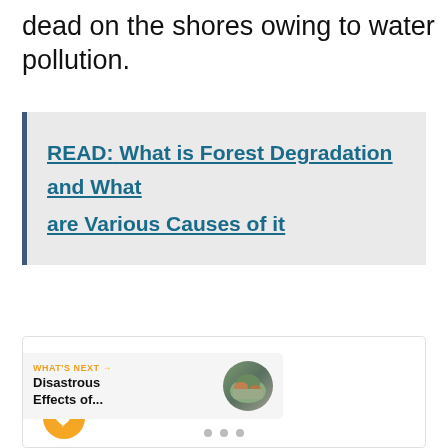dead on the shores owing to water pollution.
READ:   What is Forest Degradation and What are Various Causes of it
[Figure (screenshot): Social sharing UI with heart/like button (orange circle) and share button (white circle), plus a 'WHAT'S NEXT' navigation card showing 'Disastrous Effects of...' with a thumbnail image and three pagination dots at the bottom]
WHAT'S NEXT →
Disastrous Effects of...